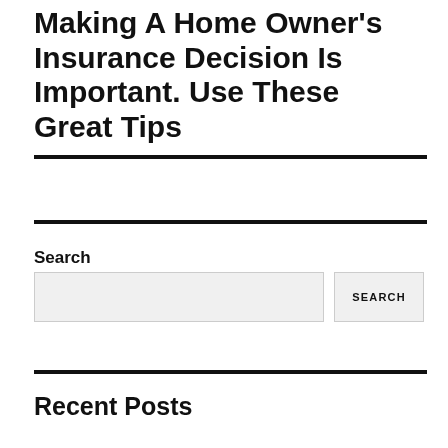Making A Home Owner's Insurance Decision Is Important. Use These Great Tips
Search
Recent Posts